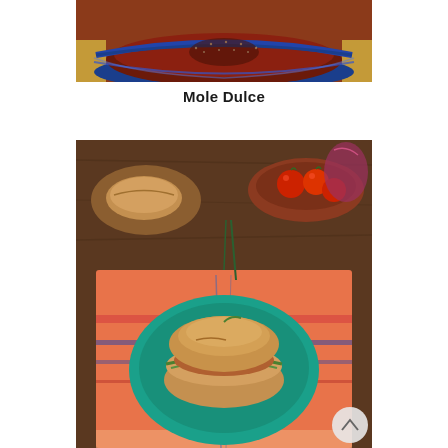[Figure (photo): Top-down view of a blue decorative bowl containing mole dulce sauce with sesame seeds on top, placed on a woven surface.]
Mole Dulce
[Figure (photo): Overhead view of a Mexican torta (sandwich) on a teal plate, placed on a colorful woven cloth. In the background are tomatoes in a clay bowl and a bolillo bread roll on a wooden board.]